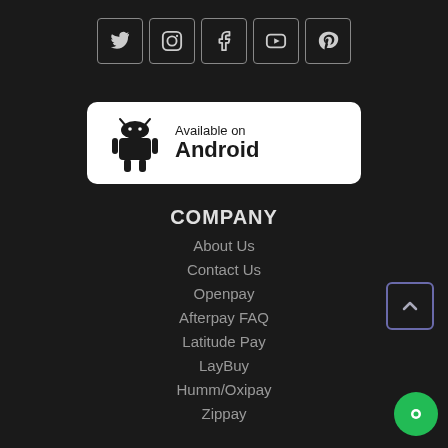[Figure (illustration): Social media icon buttons in square outlines: Twitter, Instagram, Facebook, YouTube, Pinterest]
[Figure (logo): Available on Android badge with Android robot logo, white background rounded rectangle]
COMPANY
About Us
Contact Us
Openpay
Afterpay FAQ
Latitude Pay
LayBuy
Humm/Oxipay
Zippay